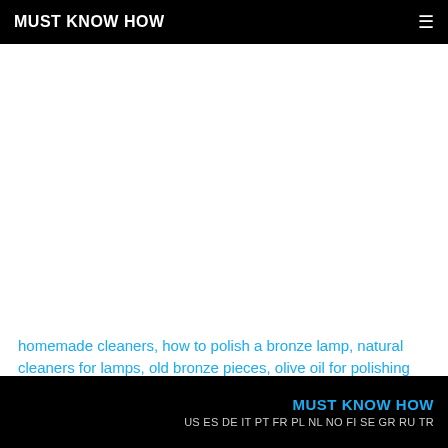MUST KNOW HOW
homemade cleaners, how to polish a bronze lamp, natural cleaners for lamps, old bronze pieces, olive oil for polishing lamps, polishing a lamp, polishing products, soapy water foe cleaning a bronze lamp, suggestions to polish a bronze lamp, transparent paste wax, vinegar and salt for cleaning a lamp
MUST KNOW HOW
US ES DE IT PT FR PL NL NO FI SE GR RU TR